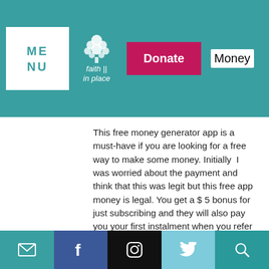MENU | faith in place | Donate | Money
This free money generator app is a must-have if you are looking for a free way to make some money. Initially  I was worried about the payment and think that this was legit but this free app money is legal. You get a $ 5 bonus for just subscribing and they will also pay you your first instalment when you refer to friends! So far I have made over $ 100 from this cash app free money and it's only been 2 weeks!
How To Download Free Cash App Money Generator On Android & iOS
Email | Facebook | Instagram | Twitter | Search